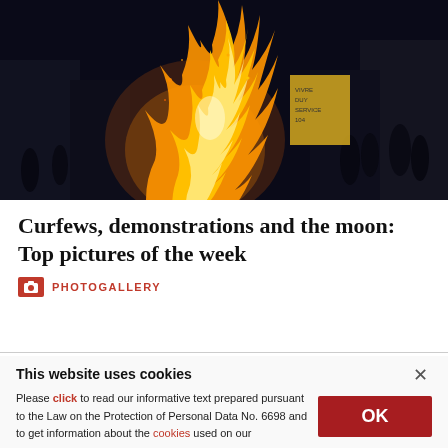[Figure (photo): Night scene of a large fire/bonfire burning at a protest or demonstration, with people visible in the background and a sign partially visible. Dark urban street setting.]
Curfews, demonstrations and the moon: Top pictures of the week
PHOTOGALLERY
This website uses cookies
Please click to read our informative text prepared pursuant to the Law on the Protection of Personal Data No. 6698 and to get information about the cookies used on our